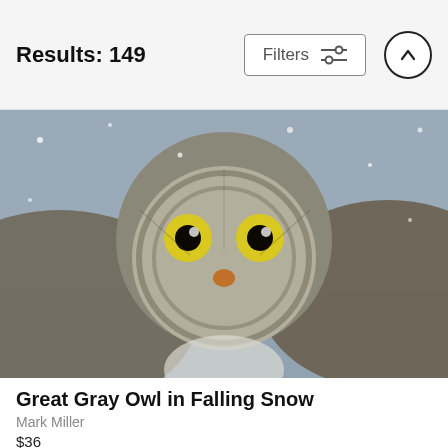Results: 149
Filters
[Figure (photo): Close-up photo of a Great Gray Owl facing forward with wings spread, in falling snow. The owl has large yellow eyes, grey and brown patterned feathers, and a small orange beak.]
Great Gray Owl in Falling Snow
Mark Miller
$36
[Figure (photo): Photo of a large dark bird (likely a Bald Eagle) spreading its wings low over open water, with snow falling around it.]